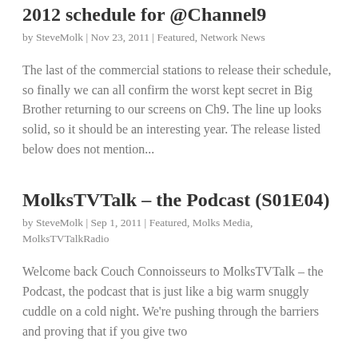2012 schedule for @Channel9
by SteveMolk | Nov 23, 2011 | Featured, Network News
The last of the commercial stations to release their schedule, so finally we can all confirm the worst kept secret in Big Brother returning to our screens on Ch9. The line up looks solid, so it should be an interesting year. The release listed below does not mention...
MolksTVTalk – the Podcast (S01E04)
by SteveMolk | Sep 1, 2011 | Featured, Molks Media, MolksTVTalkRadio
Welcome back Couch Connoisseurs to MolksTVTalk – the Podcast, the podcast that is just like a big warm snuggly cuddle on a cold night. We're pushing through the barriers and proving that if you give two